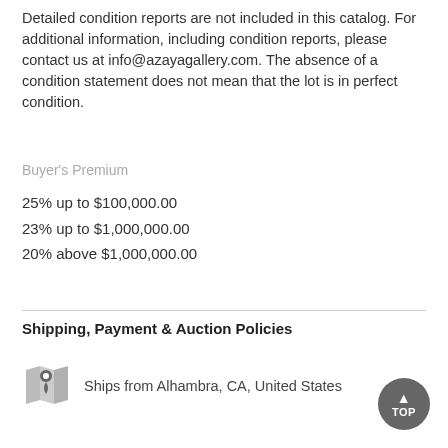Detailed condition reports are not included in this catalog. For additional information, including condition reports, please contact us at info@azayagallery.com. The absence of a condition statement does not mean that the lot is in perfect condition.
Buyer's Premium
25% up to $100,000.00
23% up to $1,000,000.00
20% above $1,000,000.00
Shipping, Payment & Auction Policies
Ships from Alhambra, CA, United States